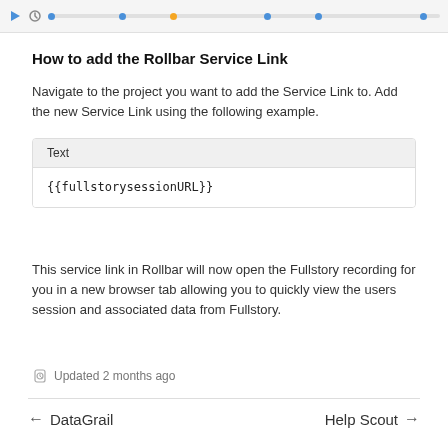[Figure (screenshot): Screenshot of a Fullstory session timeline toolbar with playback controls and a timeline bar with colored dots.]
How to add the Rollbar Service Link
Navigate to the project you want to add the Service Link to. Add the new Service Link using the following example.
| Text |  |
| --- | --- |
| {{fullstorysessionURL}} |  |
This service link in Rollbar will now open the Fullstory recording for you in a new browser tab allowing you to quickly view the users session and associated data from Fullstory.
Updated 2 months ago
← DataGrail   Help Scout →